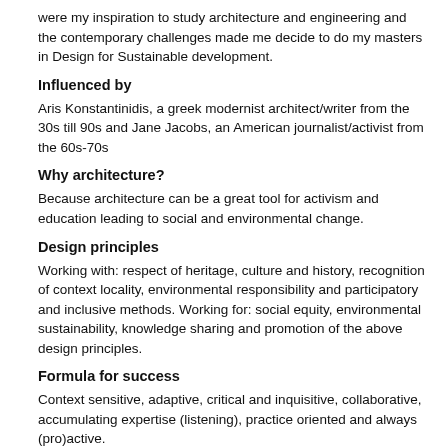were my inspiration to study architecture and engineering and the contemporary challenges made me decide to do my masters in Design for Sustainable development.
Influenced by
Aris Konstantinidis, a greek modernist architect/writer from the 30s till 90s and Jane Jacobs, an American journalist/activist from the 60s-70s
Why architecture?
Because architecture can be a great tool for activism and education leading to social and environmental change.
Design principles
Working with: respect of heritage, culture and history, recognition of context locality, environmental responsibility and participatory and inclusive methods. Working for: social equity, environmental sustainability, knowledge sharing and promotion of the above design principles.
Formula for success
Context sensitive, adaptive, critical and inquisitive, collaborative, accumulating expertise (listening), practice oriented and always (pro)active.